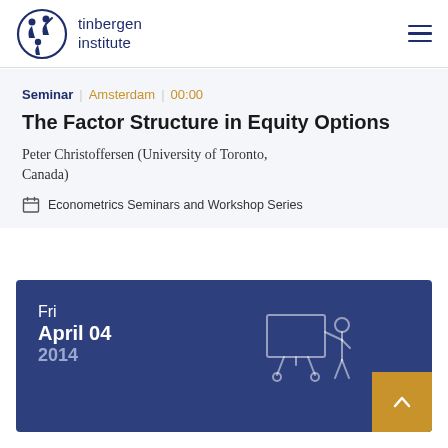tinbergen institute
Seminar | Amsterdam | 00:00
The Factor Structure in Equity Options
Peter Christoffersen (University of Toronto, Canada)
Econometrics Seminars and Workshop Series
Fri
April 04
2014